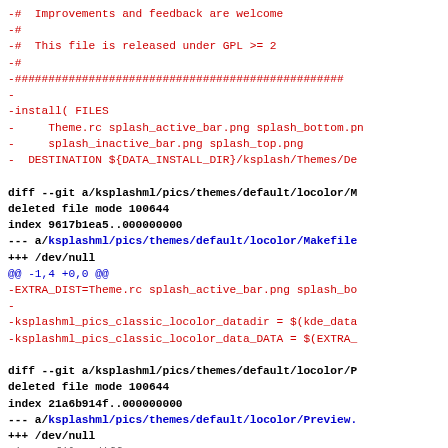-#  Improvements and feedback are welcome
-#
-#  This file is released under GPL >= 2
-#
-#################################################
-
-install( FILES
-      Theme.rc splash_active_bar.png splash_bottom.pn
-      splash_inactive_bar.png splash_top.png
-   DESTINATION ${DATA_INSTALL_DIR}/ksplash/Themes/De

diff --git a/ksplashml/pics/themes/default/locolor/M
deleted file mode 100644
index 9617b1ea5..000000000
--- a/ksplashml/pics/themes/default/locolor/Makefile
+++ /dev/null
@@ -1,4 +0,0 @@
-EXTRA_DIST=Theme.rc splash_active_bar.png splash_bo
-
-ksplashml_pics_classic_locolor_datadir = $(kde_data
-ksplashml_pics_classic_locolor_data_DATA = $(EXTRA_

diff --git a/ksplashml/pics/themes/default/locolor/P
deleted file mode 100644
index 21a6b914f..000000000
--- a/ksplashml/pics/themes/default/locolor/Preview.
+++ /dev/null
Binary files differ

diff --git a/ksplashml/pics/themes/default/locolor/T
deleted file mode 100644